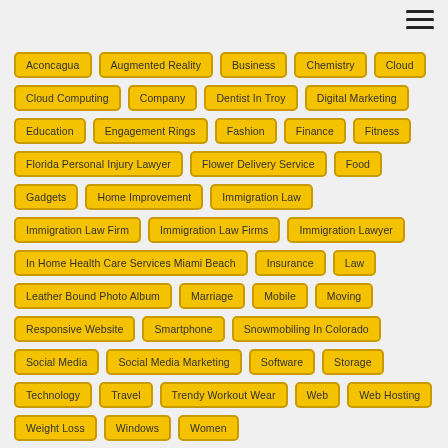[Figure (other): Hamburger menu icon (three horizontal lines) in top-right corner]
Aconcagua, Augmented Reality, Business, Chemistry, Cloud, Cloud Computing, Company, Dentist In Troy, Digital Marketing, Education, Engagement Rings, Fashion, Finance, Fitness, Florida Personal Injury Lawyer, Flower Delivery Service, Food, Gadgets, Home Improvement, Immigration Law, Immigration Law Firm, Immigration Law Firms, Immigration Lawyer, In Home Health Care Services Miami Beach, Insurance, Law, Leather Bound Photo Album, Marriage, Mobile, Moving, Responsive Website, Smartphone, Snowmobiling In Colorado, Social Media, Social Media Marketing, Software, Storage, Technology, Travel, Trendy Workout Wear, Web, Web Hosting, Weight Loss, Windows, Women